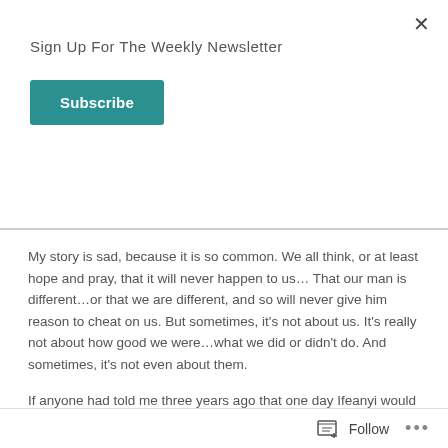×
Sign Up For The Weekly Newsletter
Subscribe
My story is sad, because it is so common.  We all think, or at least hope and pray, that it will never happen to us…  That our man is different…or that we are different, and so will never give him reason to cheat on us.  But sometimes, it's not about us.  It's really not about how good we were…what we did or didn't do.  And sometimes, it's not even about them.
If anyone had told me three years ago that one day Ifeanyi would hurt me in this most horrible way, I would have sworn on my mother's grave that he
Follow ...